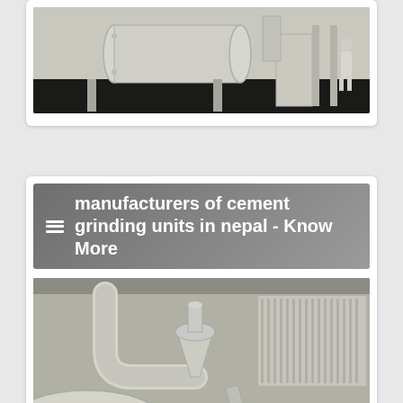[Figure (photo): Industrial cement grinding machinery — large cylindrical mill and associated equipment in a factory setting, with a worker in white protective gear visible in the background.]
[Figure (photo): Aerial/overhead view of cement grinding unit piping and ductwork — white pipes, hoppers, and industrial radiator-style cooling fins visible on a factory floor.]
manufacturers of cement grinding units in nepal - Know More